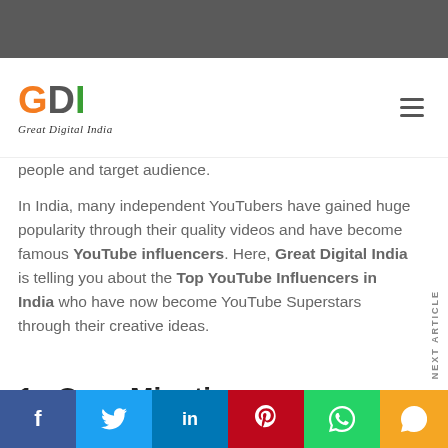[Figure (logo): Great Digital India logo with GDI letters in orange, grey, green and italic script below]
people and target audience.
In India, many independent YouTubers have gained huge popularity through their quality videos and have become famous YouTube influencers. Here, Great Digital India is telling you about the Top YouTube Influencers in India who have now become YouTube Superstars through their creative ideas.
1.  CarryMinati
[Figure (infographic): Social media share bar with Facebook, Twitter, LinkedIn, Pinterest, WhatsApp buttons]